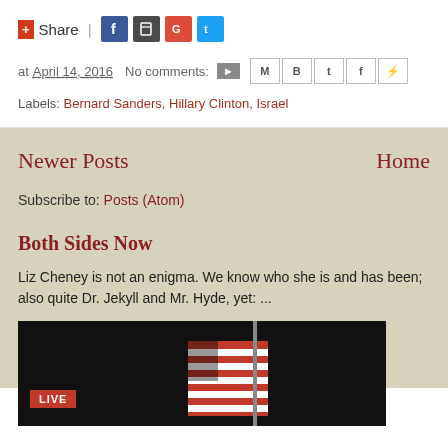Share | [social icons]
at April 14, 2016  No comments:  [email icon] [share icons]
Labels: Bernard Sanders, Hillary Clinton, Israel
Newer Posts
Home
Subscribe to: Posts (Atom)
Both Sides Now
Liz Cheney is not an enigma. We know who she is and has been; also quite Dr. Jekyll and Mr. Hyde, yet: ...
[Figure (photo): Video thumbnail with LIVE badge and American flag, dark background]